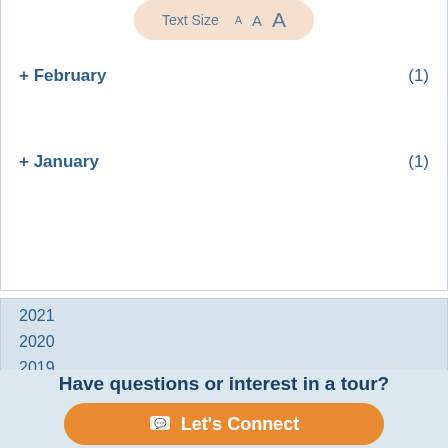Text Size  A A A
+ February (1)
+ January (1)
2021
2020
2019
2018
2017
2016
Have questions or interest in a tour?
Let's Connect